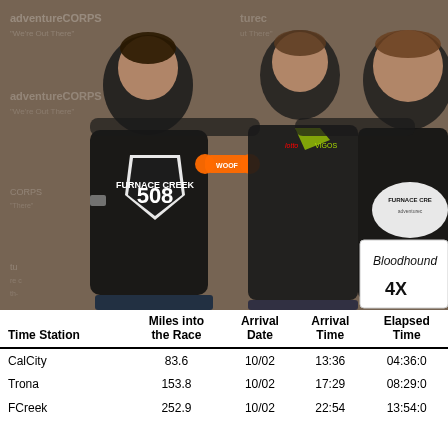[Figure (photo): Three men posing together in front of an Adventure Corps backdrop. The man on the left wears a black Furnace Creek 508 t-shirt and holds an orange WOOF bone toy. The man in the middle wears a dark athletic shirt with Lotto and VIGOS branding. The man on the right holds a whiteboard reading 'Bloodhound 4X' and wears a black shirt with a Furnace Creek logo.]
| Time Station | Miles into
the Race | Arrival
Date | Arrival
Time | Elapsed
Time |
| --- | --- | --- | --- | --- |
| CalCity | 83.6 | 10/02 | 13:36 | 04:36:0 |
| Trona | 153.8 | 10/02 | 17:29 | 08:29:0 |
| FCreek | 252.9 | 10/02 | 22:54 | 13:54:0 |